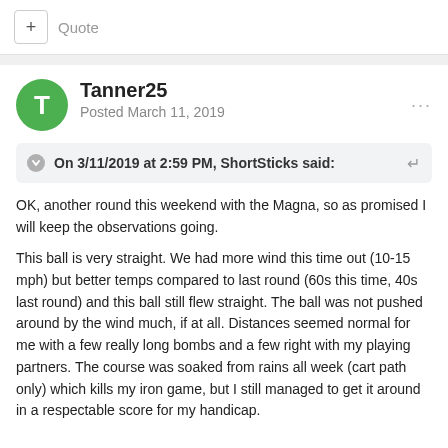+ Quote
Tanner25
Posted March 11, 2019
On 3/11/2019 at 2:59 PM, ShortSticks said:
OK, another round this weekend with the Magna, so as promised I will keep the observations going.

This ball is very straight. We had more wind this time out (10-15 mph) but better temps compared to last round (60s this time, 40s last round) and this ball still flew straight. The ball was not pushed around by the wind much, if at all. Distances seemed normal for me with a few really long bombs and a few right with my playing partners. The course was soaked from rains all week (cart path only) which kills my iron game, but I still managed to get it around in a respectable score for my handicap.